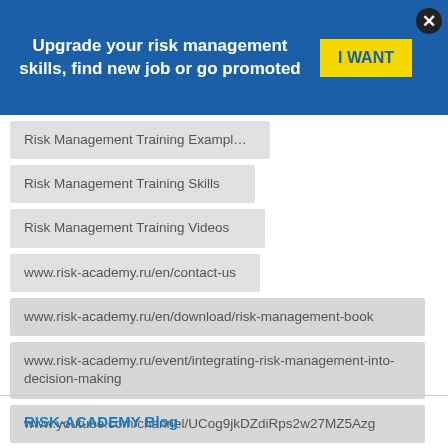[Figure (screenshot): Blue banner with text 'Upgrade your risk management skills, find new job or go promoted', a yellow 'I WANT' button, and a close (X) button]
Risk Management Training Examples
Risk Management Training Skills
Risk Management Training Videos
www.risk-academy.ru/en/contact-us
www.risk-academy.ru/en/download/risk-management-book
www.risk-academy.ru/event/integrating-risk-management-into-decision-making
www.youtube.com/channel/UCog9jkDZdiRps2w27MZ5Azg
RISK-ACADEMY Blog